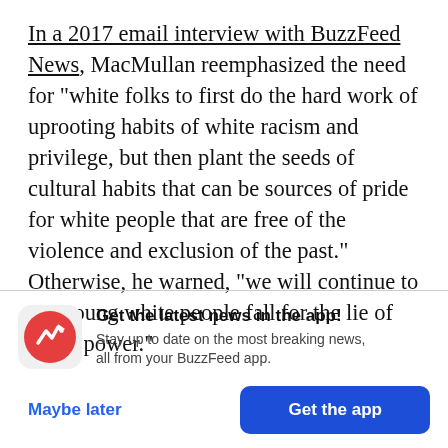In a 2017 email interview with BuzzFeed News, MacMullan reemphasized the need for "white folks to first do the hard work of uprooting habits of white racism and privilege, but then plant the seeds of cultural habits that can be sources of pride for white people that are free of the violence and exclusion of the past." Otherwise, he warned, "we will continue to see young white people fall for the lie of white power."
[Figure (logo): BuzzFeed News app promotional banner with red circle logo containing white trending arrow, headline 'Get the latest news in the app!', subtext 'Stay up to date on the most breaking news, all from your BuzzFeed app.', and two buttons: 'Maybe later' and 'Get the app']